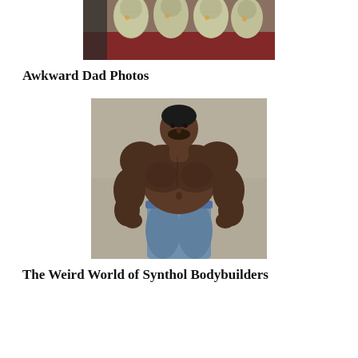[Figure (photo): Top portion of a photo showing stuffed animal toys or similar decorative items arranged together, appears to be on a couch or chair with a red/patterned cover]
Awkward Dad Photos
[Figure (photo): Photo of a muscular man with abnormally enlarged muscles (synthol use), shirtless, wearing blue sweatpants, standing with hands on hips in front of a concrete wall]
The Weird World of Synthol Bodybuilders